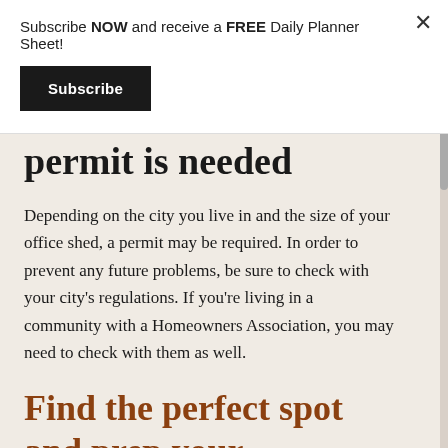Subscribe NOW and receive a FREE Daily Planner Sheet!
Subscribe
permit is needed
Depending on the city you live in and the size of your office shed, a permit may be required. In order to prevent any future problems, be sure to check with your city's regulations. If you're living in a community with a Homeowners Association, you may need to check with them as well.
Find the perfect spot and prep your backyard
Before you begin building your backyard